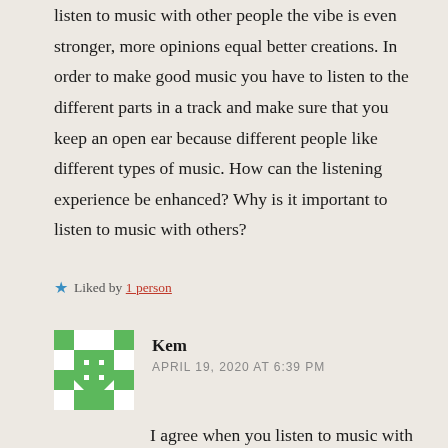listen to music with other people the vibe is even stronger, more opinions equal better creations. In order to make good music you have to listen to the different parts in a track and make sure that you keep an open ear because different people like different types of music. How can the listening experience be enhanced? Why is it important to listen to music with others?
Liked by 1 person
Kem
APRIL 19, 2020 AT 6:39 PM
I agree when you listen to music with other